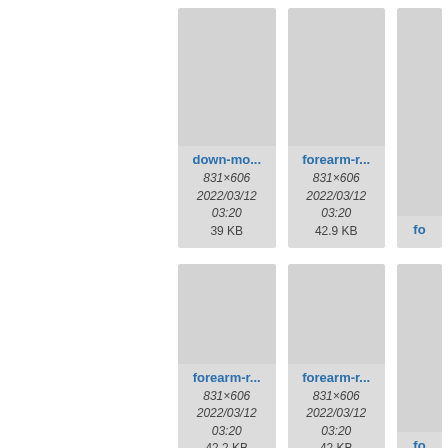[Figure (screenshot): File browser thumbnail grid showing image files. Row 1: 'down-mo...' (831×606, 2022/03/12 03:20, 39 KB), 'forearm-r...' (831×606, 2022/03/12 03:20, 42.9 KB), and a partially visible third card labeled 'fo'. Row 2: 'forearm-r...' (831×606, 2022/03/12 03:20, 42.2 KB), 'forearm-r...' (831×606, 2022/03/12 03:20, 42 KB), and a partially visible third card labeled 'fo'.]